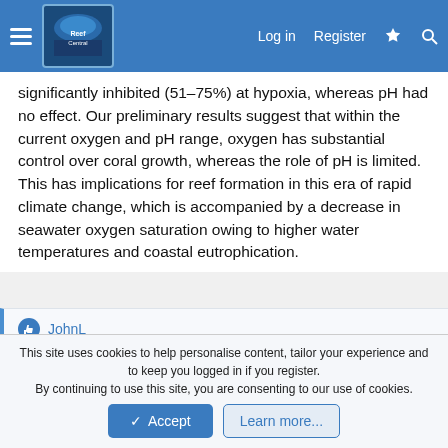Reef Central — Log in | Register
significantly inhibited (51–75%) at hypoxia, whereas pH had no effect. Our preliminary results suggest that within the current oxygen and pH range, oxygen has substantial control over coral growth, whereas the role of pH is limited. This has implications for reef formation in this era of rapid climate change, which is accompanied by a decrease in seawater oxygen saturation owing to higher water temperatures and coastal eutrophication.
👍 JohnL
salty joe
New member
Mar 8, 2022   #7
This site uses cookies to help personalise content, tailor your experience and to keep you logged in if you register.
By continuing to use this site, you are consenting to our use of cookies.
✓ Accept   Learn more...